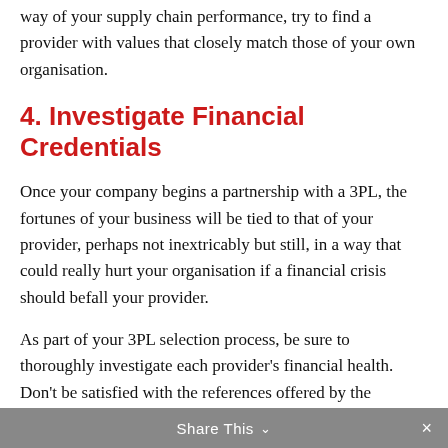way of your supply chain performance, try to find a provider with values that closely match those of your own organisation.
4. Investigate Financial Credentials
Once your company begins a partnership with a 3PL, the fortunes of your business will be tied to that of your provider, perhaps not inextricably but still, in a way that could really hurt your organisation if a financial crisis should befall your provider.
As part of your 3PL selection process, be sure to thoroughly investigate each provider’s financial health. Don’t be satisfied with the references offered by the providers. These will of course be hand-picked.
Share This ⌄  ×